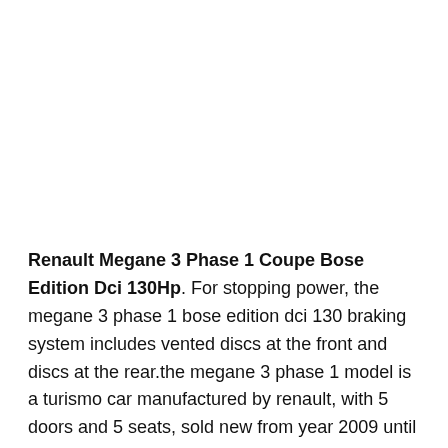Renault Megane 3 Phase 1 Coupe Bose Edition Dci 130Hp. For stopping power, the megane 3 phase 1 bose edition dci 130 braking system includes vented discs at the front and discs at the rear.the megane 3 phase 1 model is a turismo car manufactured by renault, with 5 doors and 5 seats, sold new from year 2009 until 2012, and available after that as a used car. For stopping power, the megane 3 phase 1 coupe dynamique dci 130hp braking system includes vented discs at the front and discs at the rear.the megane 3 phase 1 coupe model is a turismo car manufactured by renault, with 3 doors